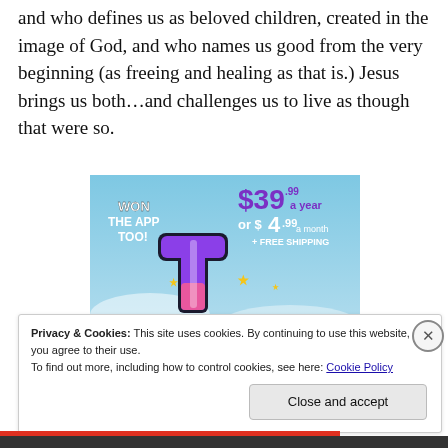and who defines us as beloved children, created in the image of God, and who names us good from the very beginning (as freeing and healing as that is.) Jesus brings us both…and challenges us to live as though that were so.
[Figure (illustration): Advertisement banner featuring a stylized letter 't' logo (Tumblr-style) in purple, pink and white with sparkle stars on a blue sky background. Text reads 'WON THE APP TOO!' and pricing '$39 a year or $4.99 a month + FREE SHIPPING']
Privacy & Cookies: This site uses cookies. By continuing to use this website, you agree to their use.
To find out more, including how to control cookies, see here: Cookie Policy
Close and accept